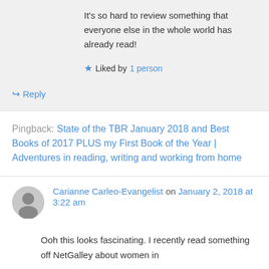It's so hard to review something that everyone else in the whole world has already read!
Liked by 1 person
Reply
Pingback: State of the TBR January 2018 and Best Books of 2017 PLUS my First Book of the Year | Adventures in reading, writing and working from home
Carianne Carleo-Evangelist on January 2, 2018 at 3:22 am
Ooh this looks fascinating. I recently read something off NetGalley about women in